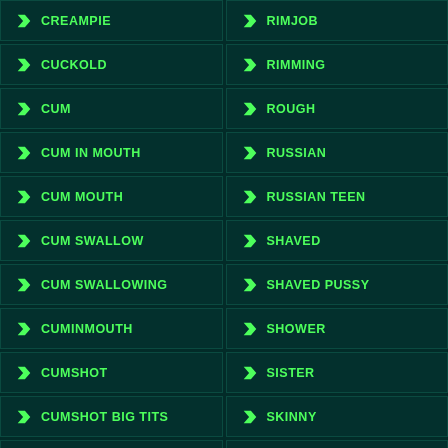CREAMPIE
RIMJOB
CUCKOLD
RIMMING
CUM
ROUGH
CUM IN MOUTH
RUSSIAN
CUM MOUTH
RUSSIAN TEEN
CUM SWALLOW
SHAVED
CUM SWALLOWING
SHAVED PUSSY
CUMINMOUTH
SHOWER
CUMSHOT
SISTER
CUMSHOT BIG TITS
SKINNY
CUMSHOT PUSSY
SLOPPY BLOWJOB